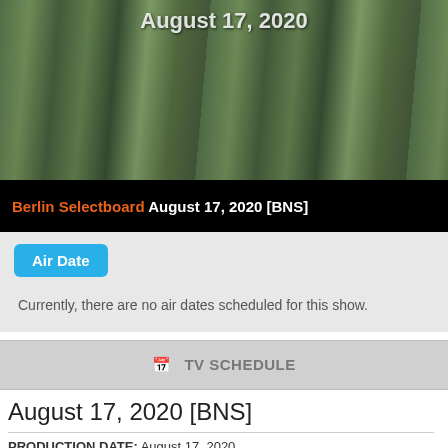[Figure (photo): Aerial photograph of a campus or facility area with parking lots and trees, with overlaid text 'August 17, 2020']
Berlin Selectboard August 17, 2020 [BNS]
Air Date
Currently, there are no air dates scheduled for this show.
TV SCHEDULE
GIVE US FEEDBACK
August 17, 2020 [BNS]
PRODUCTION DATE: August 17, 2020